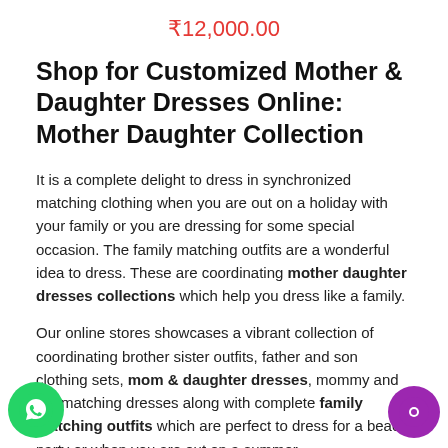₹12,000.00
Shop for Customized Mother & Daughter Dresses Online: Mother Daughter Collection
It is a complete delight to dress in synchronized matching clothing when you are out on a holiday with your family or you are dressing for some special occasion. The family matching outfits are a wonderful idea to dress. These are coordinating mother daughter dresses collections which help you dress like a family.
Our online stores showcases a vibrant collection of coordinating brother sister outfits, father and son clothing sets, mom & daughter dresses, mommy and me matching dresses along with complete family matching outfits which are perfect to dress for a beach party or when you are out on a summer